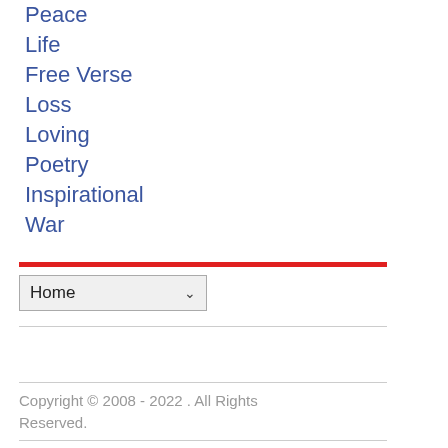Peace
Life
Free Verse
Loss
Loving
Poetry
Inspirational
War
Home
Copyright © 2008 - 2022 . All Rights Reserved.